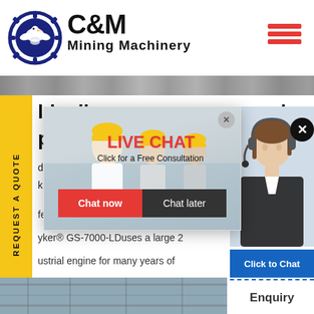[Figure (logo): C&M Mining Machinery logo with eagle gear emblem in navy blue circle]
[Figure (illustration): Hamburger menu icon with three horizontal red lines]
[Figure (photo): Industrial machinery/factory banner strip at top]
REQUEST A QUOTE (vertical sidebar text)
ld mil ... sher
pact ... Hours ... line
d Stryke...
k crushe...
fect for the small gold mining o...
yker® GS-7000-LDuses a large 2...
ustrial engine for many years of...
[Figure (photo): Live Chat popup with workers in hard hats background, LIVE CHAT title in red, Click for a Free Consultation text, Chat now and Chat later buttons]
[Figure (photo): Customer service agent with headset on right sidebar]
Click to Chat
Enquiry
[Figure (photo): Industrial machinery/factory at bottom of page]